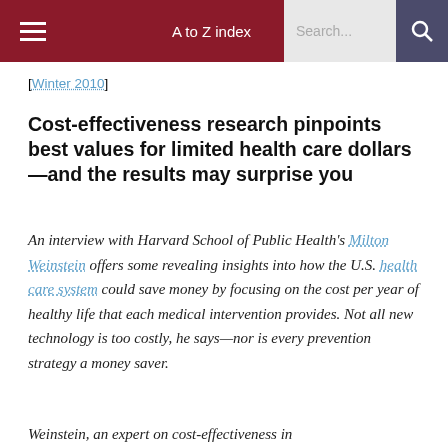A to Z index  Search...
[Winter 2010]
Cost-effectiveness research pinpoints best values for limited health care dollars—and the results may surprise you
An interview with Harvard School of Public Health's Milton Weinstein offers some revealing insights into how the U.S. health care system could save money by focusing on the cost per year of healthy life that each medical intervention provides. Not all new technology is too costly, he says—nor is every prevention strategy a money saver.
Weinstein, an expert on cost-effectiveness in